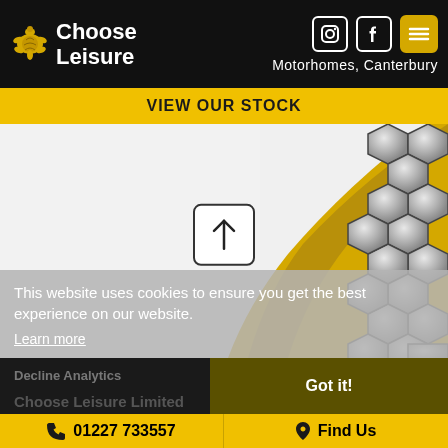[Figure (logo): Choose Leisure logo with turtle icon and text, social icons (Instagram, Facebook), menu button, and 'Motorhomes, Canterbury' tagline on black header bar]
VIEW OUR STOCK
[Figure (illustration): Website screenshot showing an upload/scroll-up arrow button in a rounded rectangle, a gold swoosh curve, and a hexagonal metallic pattern texture on the right side]
This website uses cookies to ensure you get the best experience on our website. Learn more
Decline Analytics
Got it!
Choose Leisure Limited
01227 733557
Find Us